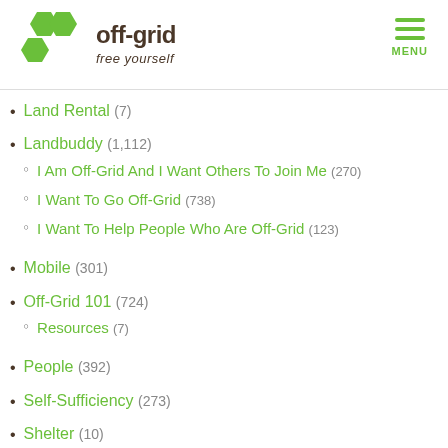off-grid free yourself — MENU
Land Rental (7)
Landbuddy (1,112)
I Am Off-Grid And I Want Others To Join Me (270)
I Want To Go Off-Grid (738)
I Want To Help People Who Are Off-Grid (123)
Mobile (301)
Off-Grid 101 (724)
Resources (7)
People (392)
Self-Sufficiency (273)
Shelter (10)